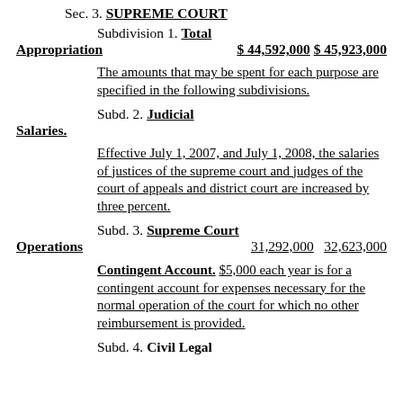Sec. 3. SUPREME COURT
Subdivision 1. Total Appropriation    $ 44,592,000 $ 45,923,000
The amounts that may be spent for each purpose are specified in the following subdivisions.
Subd. 2. Judicial Salaries.
Effective July 1, 2007, and July 1, 2008, the salaries of justices of the supreme court and judges of the court of appeals and district court are increased by three percent.
Subd. 3. Supreme Court Operations    31,292,000    32,623,000
Contingent Account. $5,000 each year is for a contingent account for expenses necessary for the normal operation of the court for which no other reimbursement is provided.
Subd. 4. Civil Legal